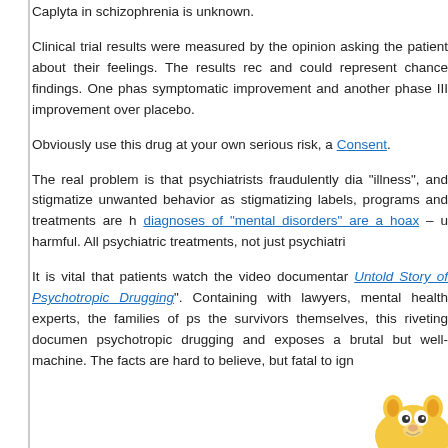Caplyta in schizophrenia is unknown.
Clinical trial results were measured by the opinion asking the patient about their feelings. The results rec and could represent chance findings. One phas symptomatic improvement and another phase III improvement over placebo.
Obviously use this drug at your own serious risk, a Consent.
The real problem is that psychiatrists fraudulently dia “illness”, and stigmatize unwanted behavior as stigmatizing labels, programs and treatments are h diagnoses of “mental disorders” are a hoax – u harmful. All psychiatric treatments, not just psychiatri
It is vital that patients watch the video documentar Untold Story of Psychotropic Drugging”. Containing with lawyers, mental health experts, the families of ps the survivors themselves, this riveting documen psychotropic drugging and exposes a brutal but well- machine. The facts are hard to believe, but fatal to ign
[Figure (illustration): Cartoon animal character (appears to be a lion or dog) peeking from bottom right corner of page]